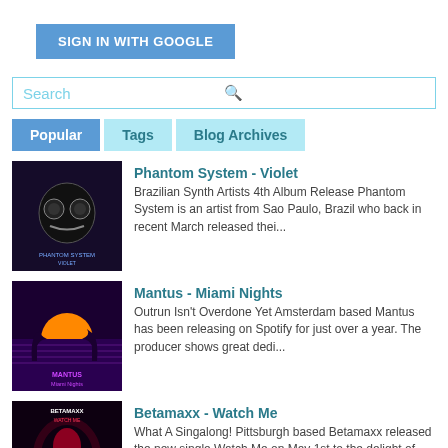[Figure (screenshot): Sign in with Google button — blue rectangle with white bold text]
[Figure (screenshot): Search bar with cyan border, placeholder text 'Search' in cyan and a blue search icon]
[Figure (screenshot): Three tab buttons: Popular (dark blue active), Tags (light cyan), Blog Archives (light cyan)]
[Figure (illustration): Album art for Phantom System - Violet, dark themed with stylized face/mask]
Phantom System - Violet
Brazilian Synth Artists 4th Album Release Phantom System is an artist from Sao Paulo, Brazil who back in recent March released thei...
[Figure (illustration): Album art for Mantus - Miami Nights, purple/orange retrowave sunset style]
Mantus - Miami Nights
Outrun Isn't Overdone Yet Amsterdam based Mantus has been releasing on Spotify for just over a year. The producer shows great dedi...
[Figure (illustration): Album art for Betamaxx - Watch Me, dark theme with red-lit female figure]
Betamaxx - Watch Me
What A Singalong! Pittsburgh based Betamaxx released the new single Watch Me on May 1st to the delight of their already dedicated ...